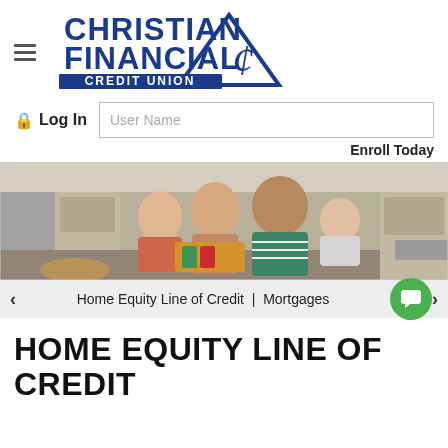[Figure (logo): Christian Financial Credit Union logo — blue text with triangle and cent-sign graphic]
Log In  User Name
Enroll Today
[Figure (photo): A smiling family with two children in a bright kitchen setting]
Home Equity Line of Credit  |  Mortgages
HOME EQUITY LINE OF CREDIT